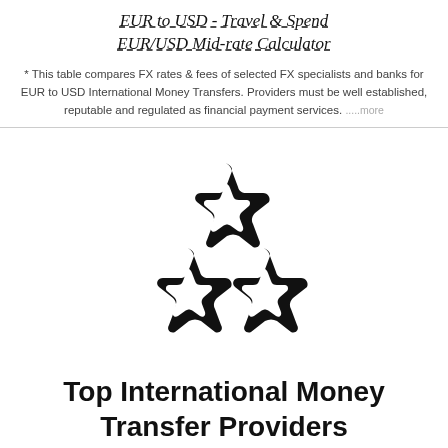EUR to USD - Travel & Spend EUR/USD Mid-rate Calculator
* This table compares FX rates & fees of selected FX specialists and banks for EUR to USD International Money Transfers. Providers must be well established, reputable and regulated as financial payment services. .....more
[Figure (illustration): Three rounded star icons arranged in a triangle (one on top, two on the bottom), filled black with hollow star centers]
Top International Money Transfer Providers